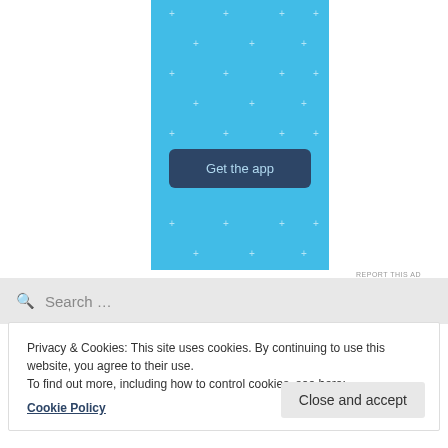[Figure (other): Light blue advertisement banner with sparkle/plus decorations and a dark blue 'Get the app' button]
REPORT THIS AD
Search …
Privacy & Cookies: This site uses cookies. By continuing to use this website, you agree to their use.
To find out more, including how to control cookies, see here:
Cookie Policy
Close and accept